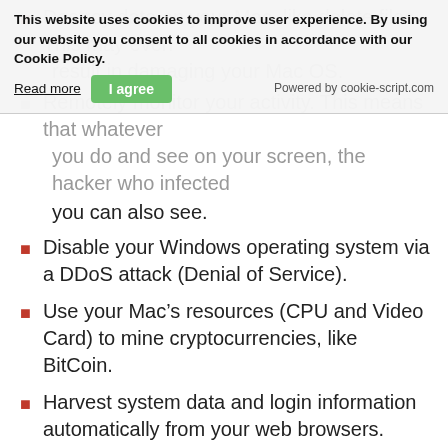Destroy data on your Mac, like delete files. This may even result in damaging your Mac OS.
Remotely monitor your activity. This means that whatever you do and see on your screen, the hacker who infected you can also see.
Disable your Windows operating system via a DDoS attack (Denial of Service).
Use your Mac’s resources (CPU and Video Card) to mine cryptocurrencies, like BitCoin.
Harvest system data and login information automatically from your web browsers.
Install other viruses on your Mac which may cause even more damage.
Some of the ads may redirect you to websites that are Tech Support Scam ones and may ask you to call a fake scam number, tricking you that there is a virus on your Mac..
Display fake login screens that can lure you into typing your username and password.